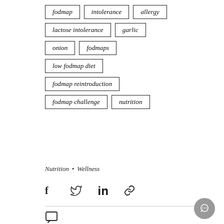fodmap
intolerance
allergy
lactose intolerance
garlic
onion
fodmaps
low fodmap diet
fodmap reintroduction
fodmap challenge
nutrition
Nutrition • Wellness
[Figure (infographic): Social share icons: Facebook, Twitter, LinkedIn, link/copy]